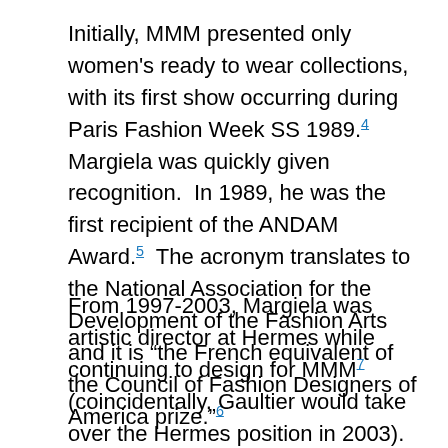Initially, MMM presented only women's ready to wear collections, with its first show occurring during Paris Fashion Week SS 1989.[4] Margiela was quickly given recognition. In 1989, he was the first recipient of the ANDAM Award.[5] The acronym translates to the National Association for the Development of the Fashion Arts and it is "the French equivalent of the Council of Fashion Designers of America prize."[6]
From 1997-2003, Margiela was artistic director at Hermes while continuing to design for MMM[7] (coincidentally, Gaultier would take over the Hermes position in 2003). MMM men's runway presentations were introduced in October 1999 for S/S...